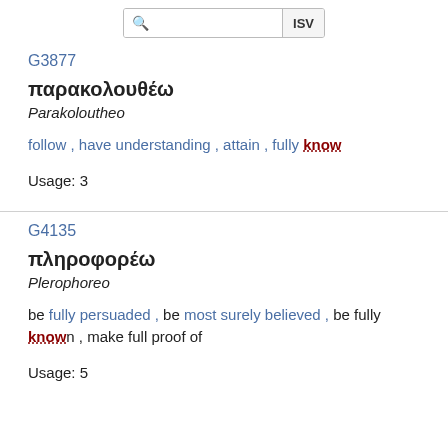ISV
G3877
παρακολουθέω
Parakoloutheo
follow , have understanding , attain , fully know
Usage: 3
G4135
πληροφορέω
Plerophoreo
be fully persuaded , be most surely believed , be fully known , make full proof of
Usage: 5